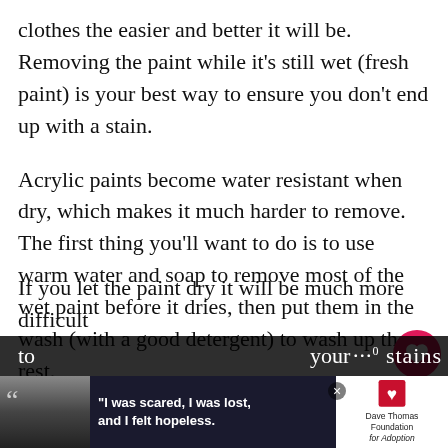clothes the easier and better it will be. Removing the paint while it's still wet (fresh paint) is your best way to ensure you don't end up with a stain.
Acrylic paints become water resistant when dry, which makes it much harder to remove. The first thing you'll want to do is to use warm water and soap to remove most of the wet paint before it dries, then put them in the wash (with a good detergent) to wash up the rest.
If you can't get to washing the clothes right away, soak them in some water until you can.
If you let the paint dry it will be much more difficult to remove from your clothes stains